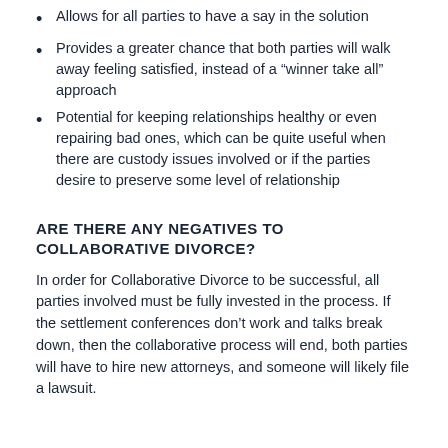Allows for all parties to have a say in the solution
Provides a greater chance that both parties will walk away feeling satisfied, instead of a “winner take all” approach
Potential for keeping relationships healthy or even repairing bad ones, which can be quite useful when there are custody issues involved or if the parties desire to preserve some level of relationship
ARE THERE ANY NEGATIVES TO COLLABORATIVE DIVORCE?
In order for Collaborative Divorce to be successful, all parties involved must be fully invested in the process. If the settlement conferences don’t work and talks break down, then the collaborative process will end, both parties will have to hire new attorneys, and someone will likely file a lawsuit.